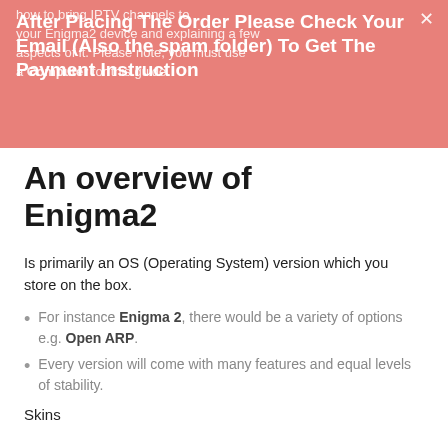how to bring IPTV channels to your Enigma2 device and explaining a few aspects of it. Please note, you must use a Computer for this guide.
After Placing The Order Please Check Your Email (Also the spam folder) To Get The Payment Instruction
An overview of Enigma2
Is primarily an OS (Operating System) version which you store on the box.
For instance Enigma 2, there would be a variety of options e.g. Open ARP.
Every version will come with many features and equal levels of stability.
Skins